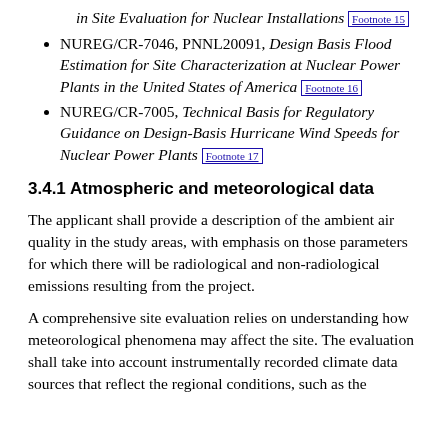in Site Evaluation for Nuclear Installations [Footnote 15]
NUREG/CR-7046, PNNL20091, Design Basis Flood Estimation for Site Characterization at Nuclear Power Plants in the United States of America [Footnote 16]
NUREG/CR-7005, Technical Basis for Regulatory Guidance on Design-Basis Hurricane Wind Speeds for Nuclear Power Plants [Footnote 17]
3.4.1 Atmospheric and meteorological data
The applicant shall provide a description of the ambient air quality in the study areas, with emphasis on those parameters for which there will be radiological and non-radiological emissions resulting from the project.
A comprehensive site evaluation relies on understanding how meteorological phenomena may affect the site. The evaluation shall take into account instrumentally recorded climate data sources that reflect the regional conditions, such as the